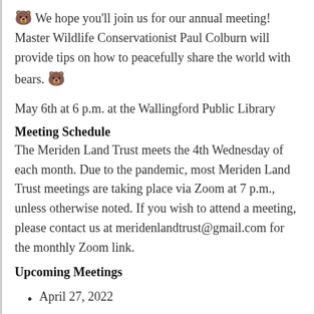🐻 We hope you'll join us for our annual meeting! Master Wildlife Conservationist Paul Colburn will provide tips on how to peacefully share the world with bears. 🐻
May 6th at 6 p.m. at the Wallingford Public Library
Meeting Schedule
The Meriden Land Trust meets the 4th Wednesday of each month. Due to the pandemic, most Meriden Land Trust meetings are taking place via Zoom at 7 p.m., unless otherwise noted. If you wish to attend a meeting, please contact us at meridenlandtrust@gmail.com for the monthly Zoom link.
Upcoming Meetings
April 27, 2022
May 25, 2022